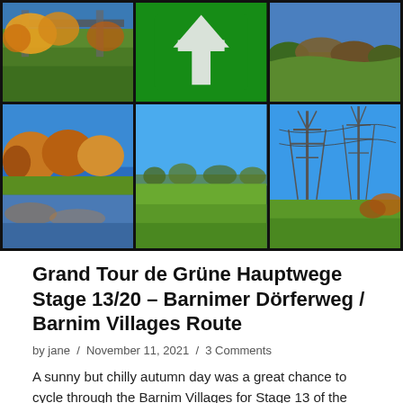[Figure (photo): 3x2 photo grid showing autumn cycling scenery: top row has autumn trees with bridge, green directional sign with white arrow, and hillside shrubs; bottom row shows river with autumn trees reflection, open green fields with blue sky, and electricity pylons against blue sky.]
Grand Tour de Grüne Hauptwege Stage 13/20 – Barnimer Dörferweg / Barnim Villages Route
by jane / November 11, 2021 / 3 Comments
A sunny but chilly autumn day was a great chance to cycle through the Barnim Villages for Stage 13 of the Grand Tour de Grüne Hauptwege. I cycled from the Tegeler See towards the east of Berlin through some